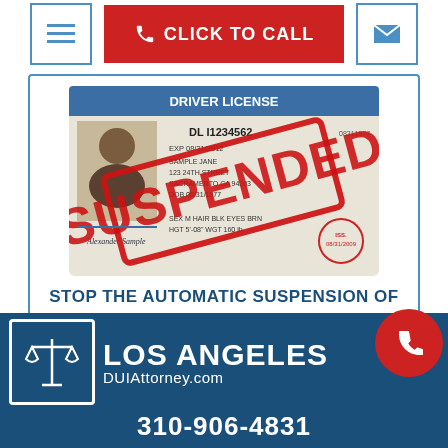[Figure (infographic): Navigation bar with hamburger menu button, red CLICK TO CALL button with phone icon, and blue email envelope button]
[Figure (photo): California driver license sample with a large red SUSPENDED stamp overlaid on it]
STOP THE AUTOMATIC SUSPENSION OF YOUR DRIVER'S LICENSE GET LEGAL HELP NOW
[Figure (logo): Los Angeles DUIAttorney.com logo with scales of justice icon, phone circle icon, and phone number 310-906-4831]